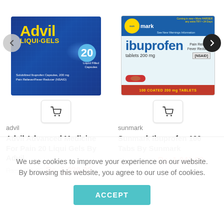[Figure (photo): Advil Liqui-Gels product box — blue box with yellow Advil logo, Solubilized Ibuprofen Capsules 200mg, Pain Reliever/Fever Reducer (NSAID), 20 Liquid Filled Capsules]
[Figure (photo): Sunmark Ibuprofen tablets 200mg box — blue and white box with sunmark logo, Pain Reliever/Fever Reducer (NSAID), 100 Coated 200mg Tablets]
advil
sunmark
Advil Advanced Medicine For Pain 20 Liqui Gels By Advil
Sunmark Ibuprofen 100 Tabs By Sunmark
Rs. 1,855.00  Rs. 1,020.00
Rs. 1,895.00  Rs. 1,042.00
We use cookies to improve your experience on our website. By browsing this website, you agree to our use of cookies.
ACCEPT